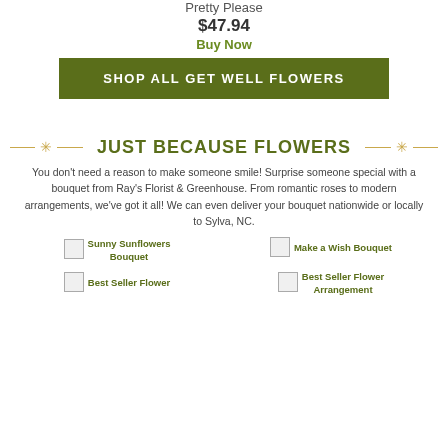Pretty Please
$47.94
Buy Now
SHOP ALL GET WELL FLOWERS
JUST BECAUSE FLOWERS
You don't need a reason to make someone smile! Surprise someone special with a bouquet from Ray's Florist & Greenhouse. From romantic roses to modern arrangements, we've got it all! We can even deliver your bouquet nationwide or locally to Sylva, NC.
[Figure (photo): Sunny Sunflowers Bouquet product image placeholder]
Sunny Sunflowers Bouquet
[Figure (photo): Make a Wish Bouquet product image placeholder]
Make a Wish Bouquet
[Figure (photo): Best Seller Flower product image placeholder]
Best Seller Flower
[Figure (photo): Best Seller Flower Arrangement product image placeholder]
Best Seller Flower Arrangement